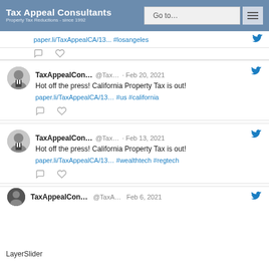Tax Appeal Consultants — Property Tax Reductions - since 1992
paper.li/TaxAppealCA/13... #losangeles
TaxAppealCon... @Tax... · Feb 20, 2021
Hot off the press! California Property Tax is out!
paper.li/TaxAppealCA/13... #us #california
TaxAppealCon... @Tax... · Feb 13, 2021
Hot off the press! California Property Tax is out!
paper.li/TaxAppealCA/13... #wealthtech #regtech
TaxAppealCon... @TaxA... Feb 6, 2021
LayerSlider